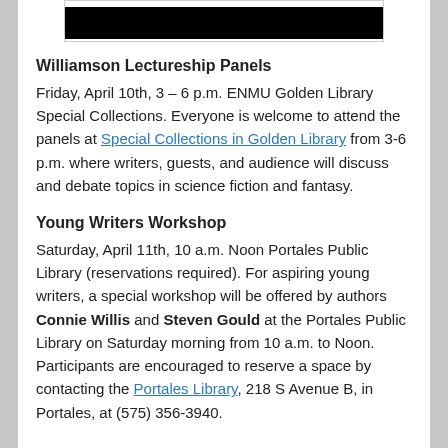[Figure (photo): Partial image at top of page, mostly black/dark bar visible]
Williamson Lectureship Panels
Friday, April 10th, 3 – 6 p.m. ENMU Golden Library Special Collections. Everyone is welcome to attend the panels at Special Collections in Golden Library from 3-6 p.m. where writers, guests, and audience will discuss and debate topics in science fiction and fantasy.
Young Writers Workshop
Saturday, April 11th, 10 a.m. Noon Portales Public Library (reservations required). For aspiring young writers, a special workshop will be offered by authors Connie Willis and Steven Gould at the Portales Public Library on Saturday morning from 10 a.m. to Noon. Participants are encouraged to reserve a space by contacting the Portales Library, 218 S Avenue B, in Portales, at (575) 356-3940.
Haffner also sent out links to the recording of a 1977